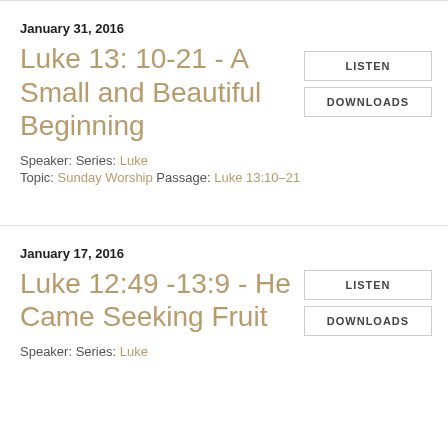January 31, 2016
Luke 13: 10-21 - A Small and Beautiful Beginning
Speaker: Series: Luke
Topic: Sunday Worship Passage: Luke 13:10–21
LISTEN
DOWNLOADS
January 17, 2016
Luke 12:49 -13:9 - He Came Seeking Fruit
Speaker: Series: Luke
LISTEN
DOWNLOADS